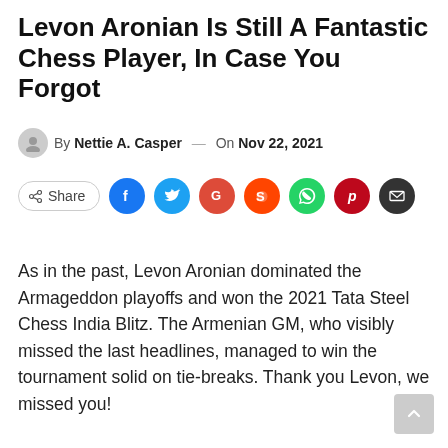Levon Aronian Is Still A Fantastic Chess Player, In Case You Forgot
By Nettie A. Casper — On Nov 22, 2021
[Figure (infographic): Social share bar with Share button and social media icons: Facebook, Twitter, Google+, Reddit, WhatsApp, Pinterest, Email]
As in the past, Levon Aronian dominated the Armageddon playoffs and won the 2021 Tata Steel Chess India Blitz. The Armenian GM, who visibly missed the last headlines, managed to win the tournament solid on tie-breaks. Thank you Levon, we missed you!